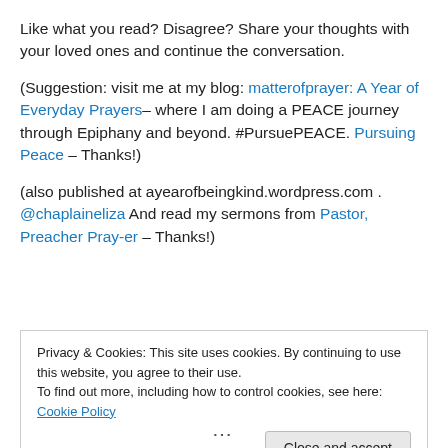Like what you read? Disagree? Share your thoughts with your loved ones and continue the conversation.
(Suggestion: visit me at my blog: matterofprayer: A Year of Everyday Prayers– where I am doing a PEACE journey through Epiphany and beyond. #PursuePEACE. Pursuing Peace – Thanks!)
(also published at ayearofbeingkind.wordpress.com . @chaplaineliza And read my sermons from Pastor, Preacher Pray-er – Thanks!)
Privacy & Cookies: This site uses cookies. By continuing to use this website, you agree to their use.
To find out more, including how to control cookies, see here: Cookie Policy
Close and accept